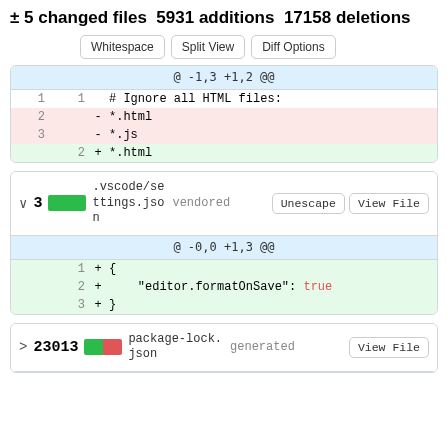± 5 changed files 5931 additions 17158 deletions
[Figure (screenshot): GitHub diff view buttons: Whitespace, Split View, Diff Options]
[Figure (screenshot): Git diff hunk: @ -1,3 +1,2 @@ showing deletion of *.html and *.js, addition of *.html]
[Figure (screenshot): File header for .vscode/settings.json with chevron 3, green bar, vendored tag, Unescape and View File buttons]
[Figure (screenshot): Git diff hunk: @ -0,0 +1,3 @@ adding { editor.formatOnSave: true }]
[Figure (screenshot): File header for package-lock.json with > 23013, split green/red bar, generated tag, View File button]